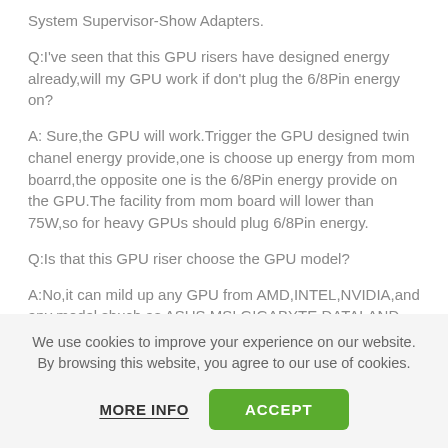System Supervisor-Show Adapters.
Q:I've seen that this GPU risers have designed energy already,will my GPU work if don't plug the 6/8Pin energy on?
A: Sure,the GPU will work.Trigger the GPU designed twin chanel energy provide,one is choose up energy from mom boarrd,the opposite one is the 6/8Pin energy provide on the GPU.The facility from mom board will lower than 75W,so for heavy GPUs should plug 6/8Pin energy.
Q:Is that this GPU riser choose the GPU model?
A:No,it can mild up any GPU from AMD,INTEL,NVIDIA,and any model shuch as ASUS,MSI,GIGABYTE,DATALAND.
We use cookies to improve your experience on our website. By browsing this website, you agree to our use of cookies.
MORE INFO
ACCEPT